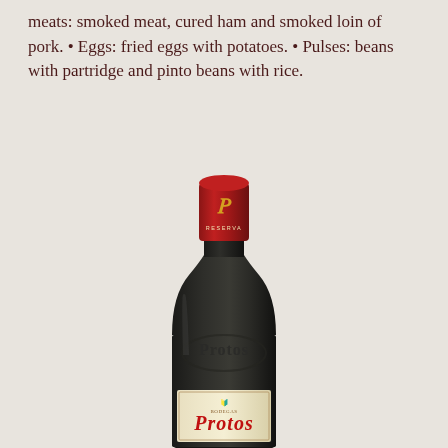meats: smoked meat, cured ham and smoked loin of pork. • Eggs: fried eggs with potatoes. • Pulses: beans with partridge and pinto beans with rice.
[Figure (photo): A bottle of Protos Reserva red wine with a dark green bottle body, red foil capsule with gold 'P' logo, embossed Protos lettering on the bottle, and a cream label with red Protos text at the bottom.]